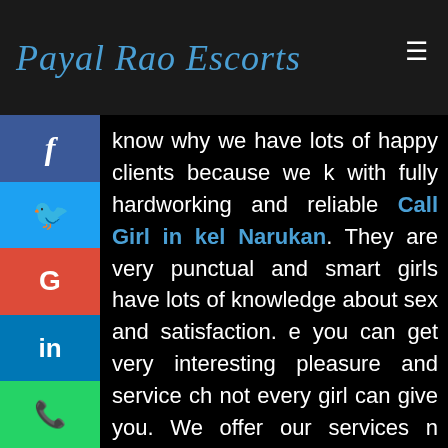Payal Rao Escorts
know why we have lots of happy clients because we k with fully hardworking and reliable Call Girl in kel Narukan. They are very punctual and smart girls have lots of knowledge about sex and satisfaction. e you can get very interesting pleasure and service ch not every girl can give you. We offer our services n Teekel Narukan. In every area, you can enjoy our service. Our Call Girls Agency have a very huge ection of very beautiful lady. Here each and every girl very talented and an expert in this work. They know how to do their work and how to make happy by their